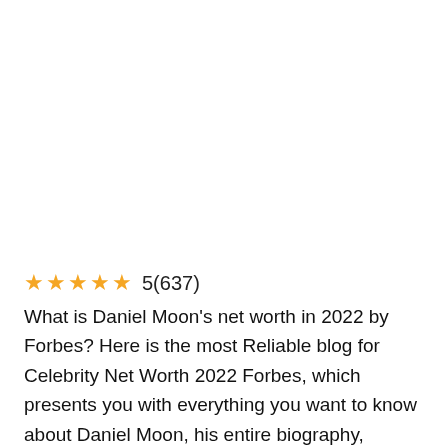★★★★★ 5(637)
What is Daniel Moon's net worth in 2022 by Forbes? Here is the most Reliable blog for Celebrity Net Worth 2022 Forbes, which presents you with everything you want to know about Daniel Moon, his entire biography, career, personal life, facts, weight, height, business, religion.